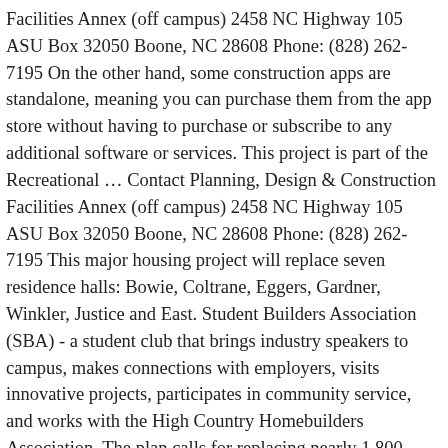Facilities Annex (off campus) 2458 NC Highway 105 ASU Box 32050 Boone, NC 28608 Phone: (828) 262-7195 On the other hand, some construction apps are standalone, meaning you can purchase them from the app store without having to purchase or subscribe to any additional software or services. This project is part of the Recreational … Contact Planning, Design & Construction Facilities Annex (off campus) 2458 NC Highway 105 ASU Box 32050 Boone, NC 28608 Phone: (828) 262-7195 This major housing project will replace seven residence halls: Bowie, Coltrane, Eggers, Gardner, Winkler, Justice and East. Student Builders Association (SBA) - a student club that brings industry speakers to campus, makes connections with employers, visits innovative projects, participates in community service, and works with the High Country Homebuilders Association. The plan calls for replacing nearly 1,800 beds — and adding 300-400 more — while also adding better, more efficient parking. Use the forms below to do so. It will also accommodate a wide variety of athletics and academic uses. DPR Construction is the Construction Manager at Risk and was awarded the pre-construction services contract. As a student, you will take courses in building